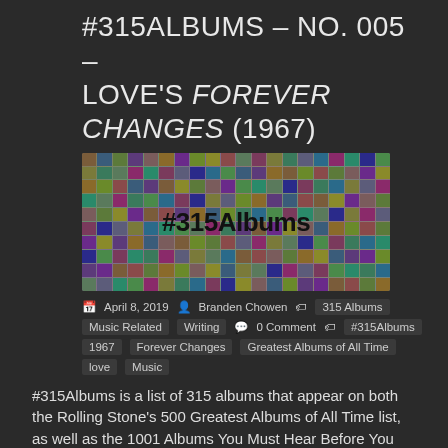#315ALBUMS – NO. 005 – LOVE'S FOREVER CHANGES (1967)
[Figure (photo): Collage of album covers with '#315Albums' overlaid in large bold text]
April 8, 2019   Branden Chowen   315 Albums   Music Related   Writing   0 Comment   #315Albums   1967   Forever Changes   Greatest Albums of All Time   love   Music
#315Albums is a list of 315 albums that appear on both the Rolling Stone's 500 Greatest Albums of All Time list, as well as the 1001 Albums You Must Hear Before You Die